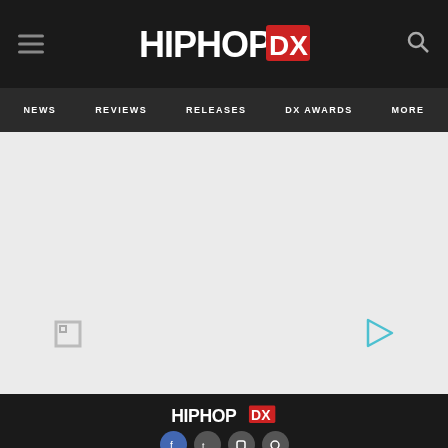HipHopDX
NEWS  REVIEWS  RELEASES  DX AWARDS  MORE
[Figure (other): Large gray content/ad placeholder area with small icon in lower-left corner and play button icon in lower-right corner]
HipHopDX footer logo with social media icons